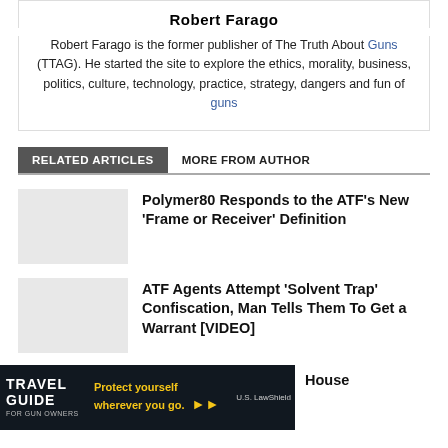Robert Farago
Robert Farago is the former publisher of The Truth About Guns (TTAG). He started the site to explore the ethics, morality, business, politics, culture, technology, practice, strategy, dangers and fun of guns
RELATED ARTICLES
MORE FROM AUTHOR
Polymer80 Responds to the ATF's New 'Frame or Receiver' Definition
[Figure (photo): Thumbnail placeholder for Polymer80 article]
ATF Agents Attempt 'Solvent Trap' Confiscation, Man Tells Them To Get a Warrant [VIDEO]
[Figure (photo): Thumbnail placeholder for ATF Solvent Trap article]
[Figure (photo): Travel Guide for Gun Owners advertisement banner - Protect yourself wherever you go.]
House